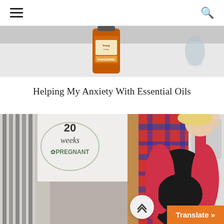≡  🔍
[Figure (photo): Top portion of a photo showing a Young Living Tangerine essential oil bottle on a white countertop with a blurred background.]
Helping My Anxiety With Essential Oils
[Figure (photo): Pregnant woman in a red/coral cardigan and black dress taking a mirror selfie. A sign reading '20 weeks PREGNANT' is visible in the background along with a plaid curtain and wooden door frame.]
Translate »